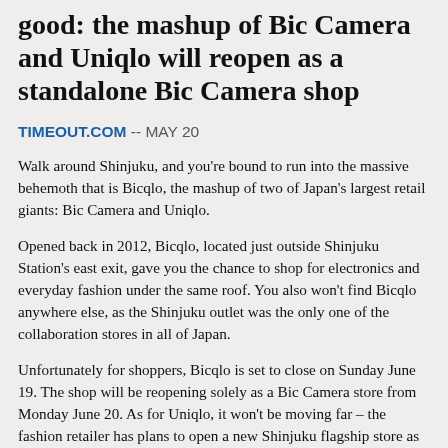good: the mashup of Bic Camera and Uniqlo will reopen as a standalone Bic Camera shop
TIMEOUT.COM -- MAY 20
Walk around Shinjuku, and you're bound to run into the massive behemoth that is Bicqlo, the mashup of two of Japan's largest retail giants: Bic Camera and Uniqlo.
Opened back in 2012, Bicqlo, located just outside Shinjuku Station's east exit, gave you the chance to shop for electronics and everyday fashion under the same roof. You also won't find Bicqlo anywhere else, as the Shinjuku outlet was the only one of the collaboration stores in all of Japan.
Unfortunately for shoppers, Bicqlo is set to close on Sunday June 19. The shop will be reopening solely as a Bic Camera store from Monday June 20. As for Uniqlo, it won't be moving far – the fashion retailer has plans to open a new Shinjuku flagship store as well as another Shinjuku Sanchome outlet this autumn.
[Figure (photo): Partial photo strip at bottom of page showing people or street scene, with caption text partially visible]